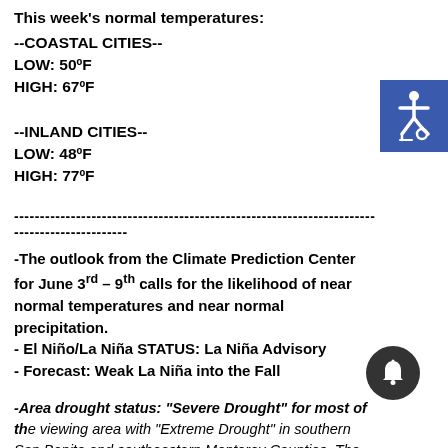This week's normal temperatures:
--COASTAL CITIES--
LOW: 50ºF
HIGH: 67ºF
--INLAND CITIES--
LOW: 48ºF
HIGH: 77ºF
-The outlook from the Climate Prediction Center for June 3rd – 9th calls for the likelihood of near normal temperatures and near normal precipitation.
- El Niño/La Niña STATUS: La Niña Advisory
- Forecast: Weak La Niña into the Fall
-Area drought status: "Severe Drought" for most of the viewing area with "Extreme Drought" in southern San Benito and southeastern Monterey Counties. The southeastern third of